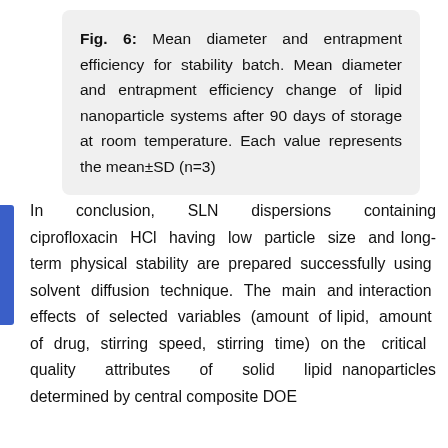Fig. 6: Mean diameter and entrapment efficiency for stability batch. Mean diameter and entrapment efficiency change of lipid nanoparticle systems after 90 days of storage at room temperature. Each value represents the mean±SD (n=3)
In conclusion, SLN dispersions containing ciprofloxacin HCl having low particle size and long-term physical stability are prepared successfully using solvent diffusion technique. The main and interaction effects of selected variables (amount of lipid, amount of drug, stirring speed, stirring time) on the critical quality attributes of solid lipid nanoparticles determined by central composite DOE